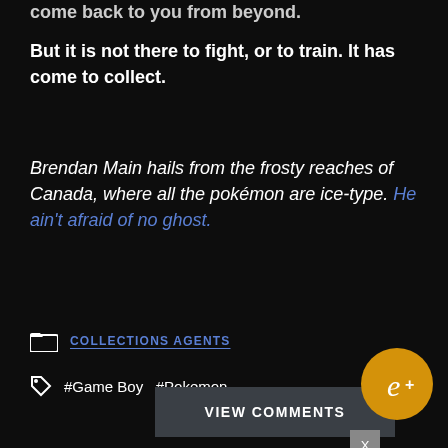come back to you from beyond.
But it is not there to fight, or to train. It has come to collect.
Brendan Main hails from the frosty reaches of Canada, where all the pokémon are ice-type. He ain't afraid of no ghost.
COLLECTIONS AGENTS
#Game Boy  #Pokemon
VIEW COMMENTS
X